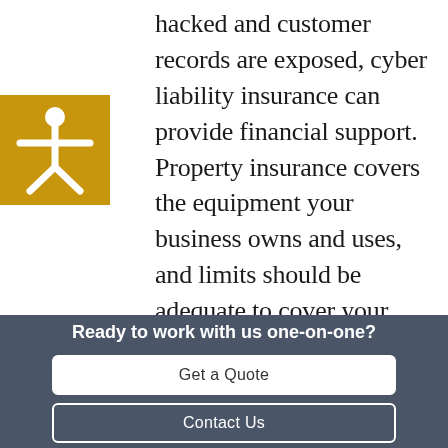hacked and customer records are exposed, cyber liability insurance can provide financial support. Property insurance covers the equipment your business owns and uses, and limits should be adequate to cover your most expensive machinery. Employment practices liability and professional liability insurance can also be beneficial.
[Figure (illustration): Gold/amber square with a white accessibility person icon (figure with arms and legs spread)]
[Figure (illustration): Round light gray close button with an X symbol]
Ready to work with us one-on-one?
Get a Quote
Contact Us